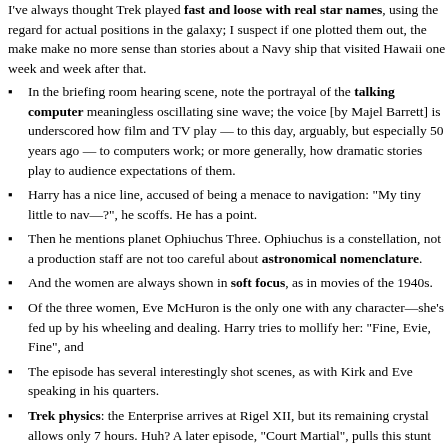I've always thought Trek played fast and loose with real star names, using them with no regard for actual positions in the galaxy; I suspect if one plotted them out, the result would make no more sense than stories about a Navy ship that visited Hawaii one week and Tokyo the week after that.
In the briefing room hearing scene, note the portrayal of the talking computer as a meaningless oscillating sine wave; the voice [by Majel Barrett] is underscored by this — how film and TV play — to this day, arguably, but especially 50 years ago — to audiences how computers work; or more generally, how dramatic stories play to audience expectations of them.
Harry has a nice line, accused of being a menace to navigation: "My tiny little menace to nav—?", he scoffs. He has a point.
Then he mentions planet Ophiuchus Three. Ophiuchus is a constellation, not a star, so the production staff are not too careful about astronomical nomenclature.
And the women are always shown in soft focus, as in movies of the 1940s.
Of the three women, Eve McHuron is the only one with any character—she's fed up by his wheeling and dealing. Harry tries to mollify her: "Fine, Evie, Fine", and
The episode has several interestingly shot scenes, as with Kirk and Eve speaking in his quarters.
Trek physics: the Enterprise arrives at Rigel XII, but its remaining crystal allows only 7 hours. Huh? A later episode, "Court Martial", pulls this stunt too, implying they decay. (And "The Naked Time" implies that too.) No. Not unless they're in such a thick atmosphere. Otherwise they're in space, in free fall, in endless motion without decay, orbiting around the Earth.
The enhanced graphics have a better shot of the miners' camp than the original.
Another early Trek theme: a 'magnetic storm' affects the ship and planet.